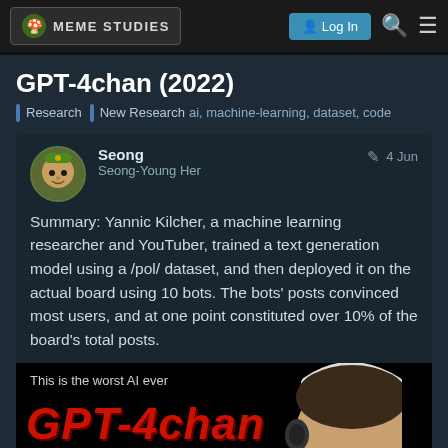MEME STUDIES — Log In
GPT-4chan (2022)
Research | New Research ai, machine-learning, dataset, code
Seong
Seong-Young Her
4 Jun
Summary: Yannic Kilcher, a machine learning researcher and YouTuber, trained a text generation model using a /pol/ dataset, and then deployed it on the actual board using 10 bots. The bots' posts convinced most users, and at one point constituted over 10% of the board's total posts.
[Figure (screenshot): YouTube thumbnail for GPT-4chan video showing red bold text 'GPT-4chan' on black background with subtitle 'The most horrible model' in yellow, with person's face on the right side. Top text reads 'This is the worst AI ever']
1 / 1